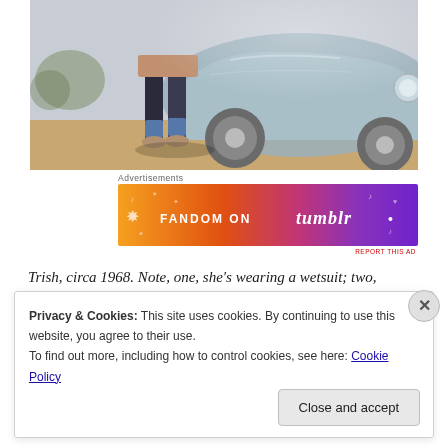[Figure (photo): Photo showing legs of a person wearing dark leggings/wetsuit next to a vintage blue/grey car on a dusty ground, circa 1968]
Advertisements
[Figure (illustration): Fandom on Tumblr advertisement banner with colorful orange to purple gradient background and decorative music/star doodles]
REPORT THIS AD
Trish, circa 1968. Note, one, she's wearing a wetsuit; two,
Privacy & Cookies: This site uses cookies. By continuing to use this website, you agree to their use.
To find out more, including how to control cookies, see here: Cookie Policy
Close and accept